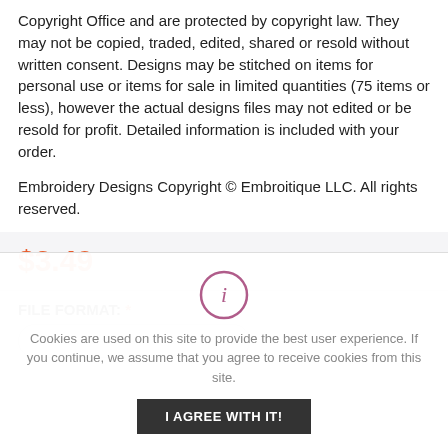Copyright Office and are protected by copyright law. They may not be copied, traded, edited, shared or resold without written consent. Designs may be stitched on items for personal use or items for sale in limited quantities (75 items or less), however the actual designs files may not edited or be resold for profit. Detailed information is included with your order.
Embroidery Designs Copyright © Embroitique LLC. All rights reserved.
$3.49
FILE FORMAT: *
Cookies are used on this site to provide the best user experience. If you continue, we assume that you agree to receive cookies from this site.
I AGREE WITH IT!